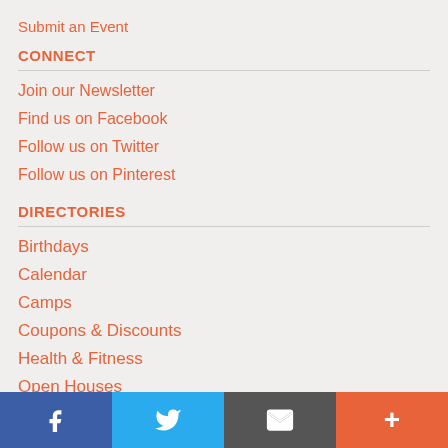Submit an Event
CONNECT
Join our Newsletter
Find us on Facebook
Follow us on Twitter
Follow us on Pinterest
DIRECTORIES
Birthdays
Calendar
Camps
Coupons & Discounts
Health & Fitness
Open Houses
Schools & Programs
Special Needs